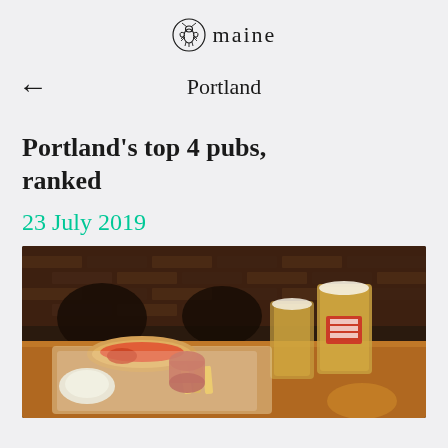maine
Portland
Portland's top 4 pubs, ranked
23 July 2019
[Figure (photo): A pub food spread on a wooden table: a lobster roll in a basket with chips, a side of coleslaw, a small cup of dipping sauce, and a pint glass of light beer in the background. Dark brick wall visible in background.]